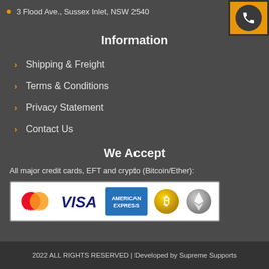3 Flood Ave., Sussex Inlet, NSW 2540
Information
Shipping & Freight
Terms & Conditions
Privacy Statement
Contact Us
We Accept
All major credit cards, EFT and crypto (Bitcoin/Ether):
[Figure (illustration): Payment logos: MasterCard, VISA, American Express, Bitcoin, Ethereum]
2022 ALL RIGHTS RESERVED | Developed by Supreme Supports